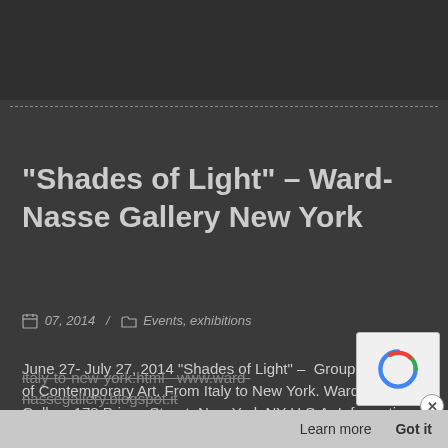"Shades of Light" – Ward-Nasse Gallery New York
07, 2014   /   Events, exhibitions
June 27- July 27, 2014 "Shades of Light" –  Group Exhibition of Contemporary Art. From Italy to New York. Ward-Nasse Gallery 178 Prince Street, New York NY U.S.A. Informations: Phon +1 212 925695. hf.nasse@gmail.com. Catalogue by ARS, artworks by Giulia Gorlova are on pages 24 – 25. https://www.ward-nassegallery.blogspot.it/2014/05/shades-of-light-fr italy-to-new-york.html  www.ward-nassegallery.blogspot.it